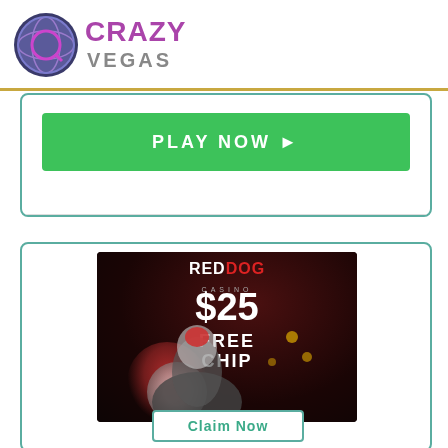[Figure (logo): Crazy Vegas casino logo with globe icon and purple/silver text reading CRAZYVEGAS]
[Figure (screenshot): Green PLAY NOW button with right-pointing arrow inside a white card with teal border, partially visible]
[Figure (illustration): Red Dog Casino advertisement banner on black background showing a cartoon red fox/dog character in a suit with coins, text: RED DOG CASINO $25 FREE CHIP, with a teal-bordered Claim Now button at bottom]